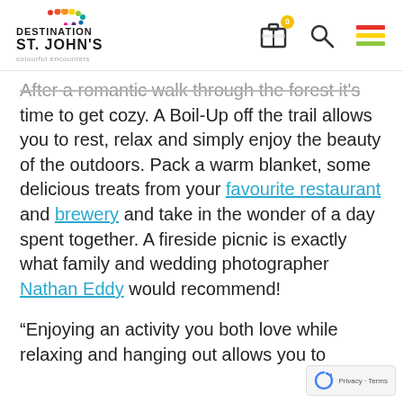[Figure (logo): Destination St. John's colourful encounters logo with coloured dots above text]
[Figure (infographic): Navigation icons: suitcase/bag with badge showing 0, magnifying glass, and hamburger menu]
After a romantic walk through the forest it's time to get cozy. A Boil-Up off the trail allows you to rest, relax and simply enjoy the beauty of the outdoors. Pack a warm blanket, some delicious treats from your favourite restaurant and brewery and take in the wonder of a day spent together. A fireside picnic is exactly what family and wedding photographer Nathan Eddy would recommend!
“Enjoying an activity you both love while relaxing and hanging out allows you to